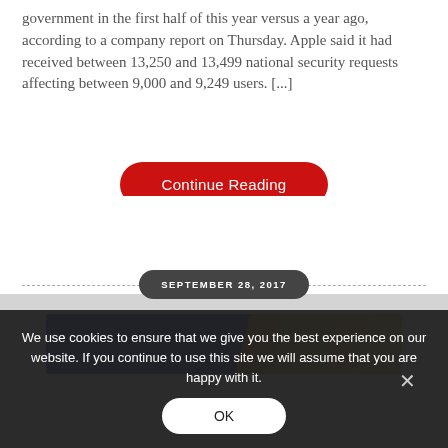government in the first half of this year versus a year ago, according to a company report on Thursday. Apple said it had received between 13,250 and 13,499 national security requests affecting between 9,000 and 9,249 users. [...]
[Figure (other): Red pill-shaped 'Continue Reading' button]
SEPTEMBER 28, 2017
[Figure (photo): Partial image strip with blue and tan/gold sections]
We use cookies to ensure that we give you the best experience on our website. If you continue to use this site we will assume that you are happy with it.
[Figure (other): White pill-shaped 'OK' button in cookie consent banner]